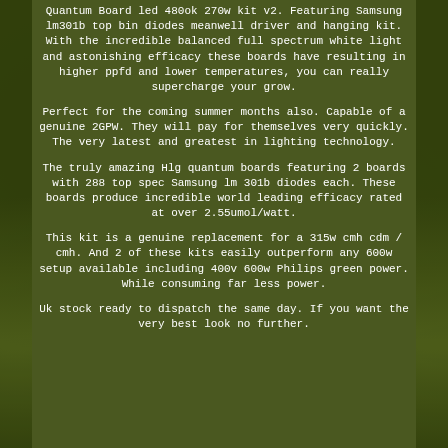Quantum Board led 480ok 270w kit v2. Featuring Samsung lm301b top bin diodes meanwell driver and hanging kit. With the incredible balanced full spectrum white light and astonishing efficacy these boards have resulting in higher ppfd and lower temperatures, you can really supercharge your grow.
Perfect for the coming summer months also. Capable of a genuine 2GPW. They will pay for themselves very quickly. The very latest and greatest in lighting technology.
The truly amazing Hlg quantum boards featuring 2 boards with 288 top spec Samsung lm 301b diodes each. These boards produce incredible world leading efficacy rated at over 2.55umol/watt.
This kit is a genuine replacement for a 315w cmh cdm / cmh. And 2 of these kits easily outperform any 600w setup available including 400v 600w Philips green power. While consuming far less power.
Uk stock ready to dispatch the same day. If you want the very best look no further.